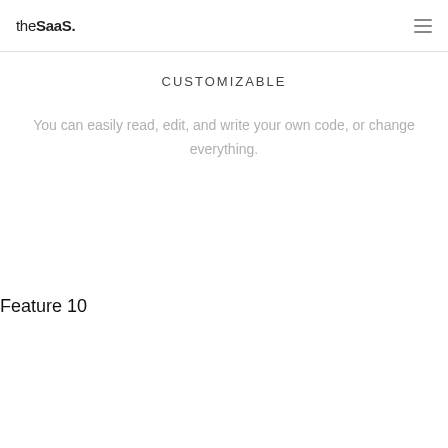theSaaS. ≡
CUSTOMIZABLE
You can easily read, edit, and write your own code, or change everything.
Feature 10